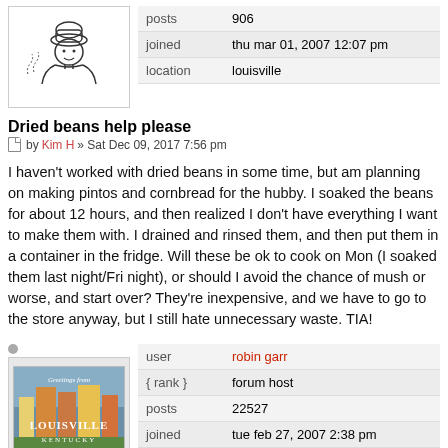[Figure (illustration): Cartoon avatar of a chef or cook with a hat, black and white line drawing]
| posts | 906 |
| joined | thu mar 01, 2007 12:07 pm |
| location | louisville |
Dried beans help please
by Kim H » Sat Dec 09, 2017 7:56 pm
I haven't worked with dried beans in some time, but am planning on making pintos and cornbread for the hubby. I soaked the beans for about 12 hours, and then realized I don't have everything I want to make them with. I drained and rinsed them, and then put them in a container in the fridge. Will these be ok to cook on Mon (I soaked them last night/Fri night), or should I avoid the chance of mush or worse, and start over? They're inexpensive, and we have to go to the store anyway, but I still hate unnecessary waste. TIA!
[Figure (photo): Greetings from Louisville Kentucky vintage postcard style image]
| user | robin garr |
| {rank} | forum host |
| posts | 22527 |
| joined | tue feb 27, 2007 2:38 pm |
| location | ... |